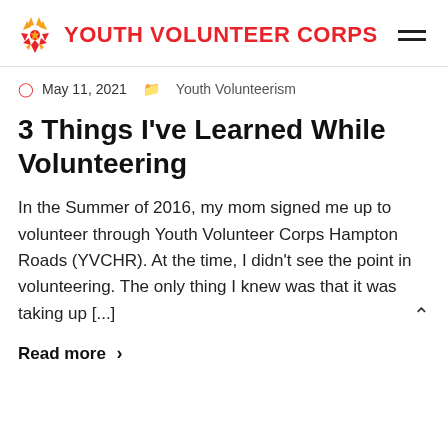YOUTH VOLUNTEER CORPS
May 11, 2021  Youth Volunteerism
3 Things I've Learned While Volunteering
In the Summer of 2016, my mom signed me up to volunteer through Youth Volunteer Corps Hampton Roads (YVCHR). At the time, I didn't see the point in volunteering. The only thing I knew was that it was taking up [...]
Read more >